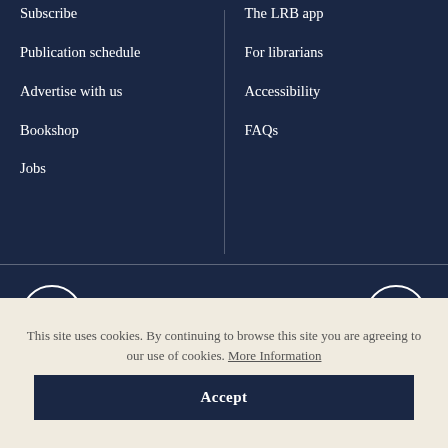Subscribe
Publication schedule
Advertise with us
Bookshop
Jobs
The LRB app
For librarians
Accessibility
FAQs
[Figure (logo): LRB circular logo with letters LRB inside a circle]
[Figure (illustration): Circular up-arrow button for back to top]
This site uses cookies. By continuing to browse this site you are agreeing to our use of cookies. More Information
Accept